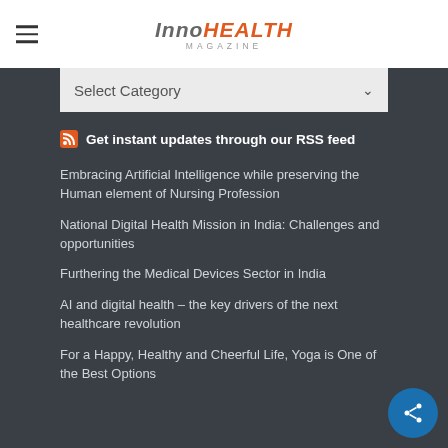InnoHEALTH MAGAZINE
Select Category
Get instant updates through our RSS feed
Embracing Artificial Intelligence while preserving the Human element of Nursing Profession
National Digital Health Mission in India: Challenges and opportunities
Furthering the Medical Devices Sector in India
AI and digital health – the key drivers of the next healthcare revolution
For a Happy, Healthy and Cheerful Life, Yoga is One of the Best Options